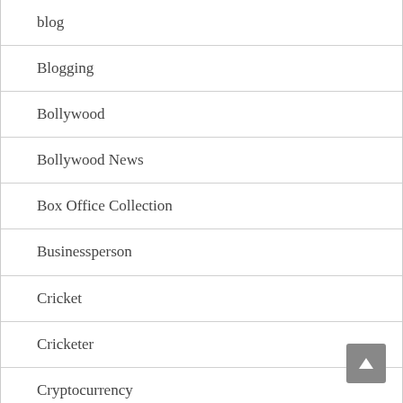blog
Blogging
Bollywood
Bollywood News
Box Office Collection
Businessperson
Cricket
Cricketer
Cryptocurrency
Death News
Digital Marketing
Educator